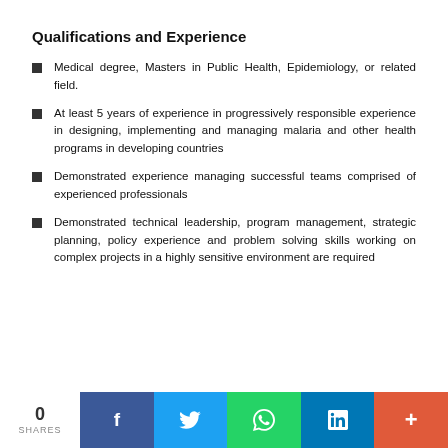Qualifications and Experience
Medical degree, Masters in Public Health, Epidemiology, or related field.
At least 5 years of experience in progressively responsible experience in designing, implementing and managing malaria and other health programs in developing countries
Demonstrated experience managing successful teams comprised of experienced professionals
Demonstrated technical leadership, program management, strategic planning, policy experience and problem solving skills working on complex projects in a highly sensitive environment are required